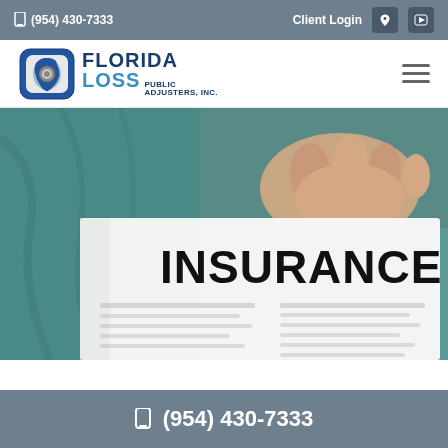(954) 430-7333   Client Login
[Figure (logo): Florida Loss Public Adjusters, Inc. logo with blue state of Florida icon]
[Figure (photo): Person in teal jacket holding white paper document with large bold text 'INSURANCE']
(954) 430-7333